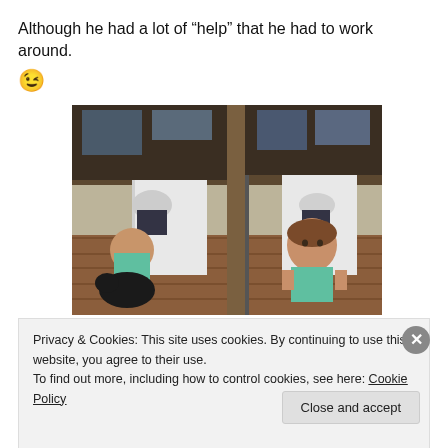Although he had a lot of “help” that he had to work around.
😉
[Figure (photo): Two side-by-side photos of a toddler girl in a teal top with a black dog, and an adult working on the floor in the background. Right photo shows the girl facing the camera.]
Privacy & Cookies: This site uses cookies. By continuing to use this website, you agree to their use.
To find out more, including how to control cookies, see here: Cookie Policy
Close and accept